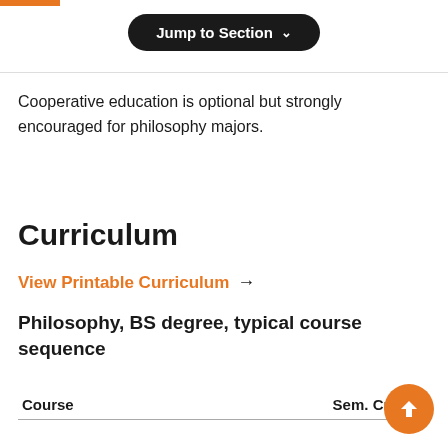[Figure (screenshot): Orange accent bar at top left of page]
[Figure (screenshot): Jump to Section button with dropdown chevron, dark rounded pill button]
Cooperative education is optional but strongly encouraged for philosophy majors.
Curriculum
View Printable Curriculum →
Philosophy, BS degree, typical course sequence
| Course | Sem. Cr. Hrs. |
| --- | --- |